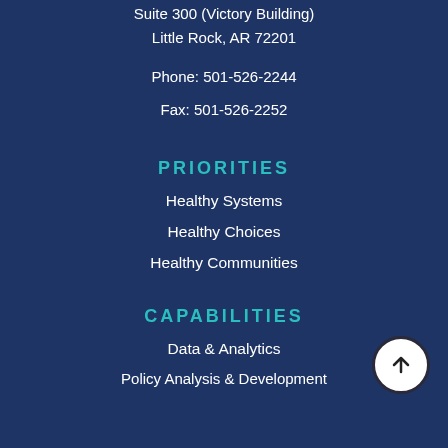Suite 300 (Victory Building)
Little Rock, AR 72201
Phone: 501-526-2244
Fax: 501-526-2252
PRIORITIES
Healthy Systems
Healthy Choices
Healthy Communities
CAPABILITIES
Data & Analytics
Policy Analysis & Development